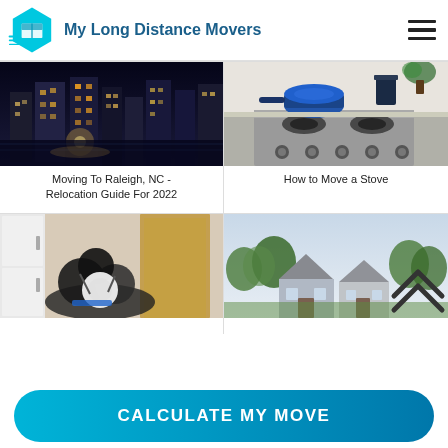My Long Distance Movers
[Figure (photo): Nighttime city skyline with illuminated office buildings and street lights reflected on water — Raleigh, NC]
Moving To Raleigh, NC - Relocation Guide For 2022
[Figure (photo): Blue pot and cookware on a stainless steel gas stove with knobs, kitchen countertop background]
How to Move a Stove
[Figure (photo): Moving boxes and bags of belongings in a room corner near a door]
[Figure (photo): Suburban houses with trees and sky, with double chevron back-to-top arrows overlay]
CALCULATE MY MOVE